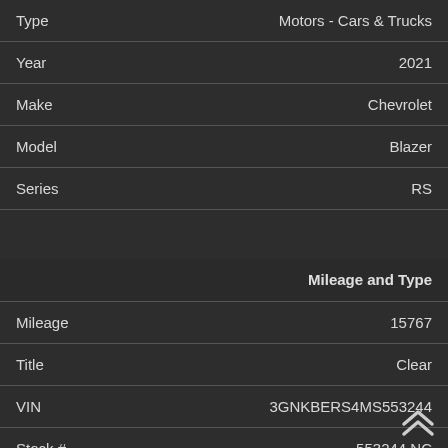| Field | Value |
| --- | --- |
| Type | Motors - Cars & Trucks |
| Year | 2021 |
| Make | Chevrolet |
| Model | Blazer |
| Series | RS |
| Field | Value |
| --- | --- |
| Mileage and Type |  |
| Mileage | 15767 |
| Title | Clear |
| VIN | 3GNKBERS4MS553244 |
| Stock # | 553244 NC |